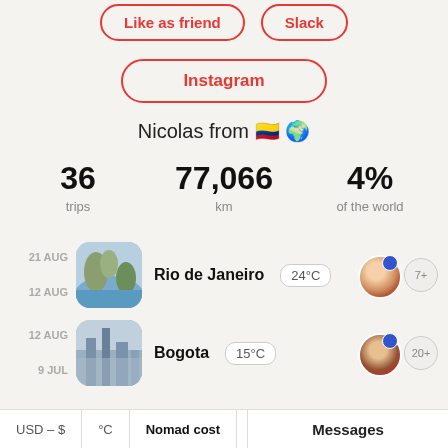Like as friend
Slack
Instagram
Nicolas from 🇨🇴 🌍
36 trips   77,066 km   4% of the world
21 AUG / 12 AUG — Rio de Janeiro 24°C — 7+
12 AUG / 9 JUL — Bogota 15°C — 20+
USD – $   °C   Nomad cost
Messages